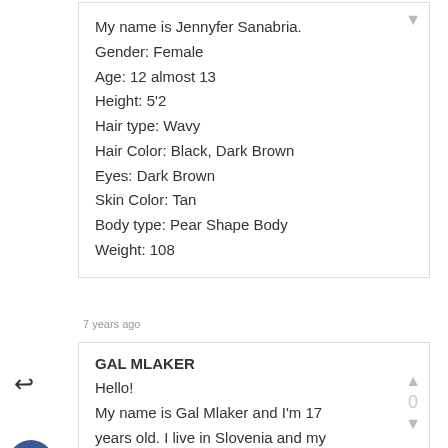My name is Jennyfer Sanabria.
Gender: Female
Age: 12 almost 13
Height: 5'2
Hair type: Wavy
Hair Color: Black, Dark Brown
Eyes: Dark Brown
Skin Color: Tan
Body type: Pear Shape Body
Weight: 108
7 years ago
GAL MLAKER
Hello!
My name is Gal Mlaker and I'm 17 years old. I live in Slovenia and my